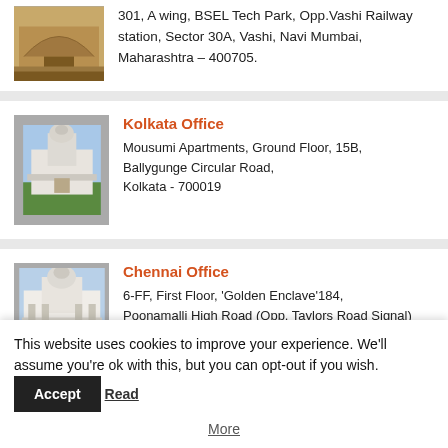[Figure (photo): Partial view of a building/arch photo at top of page (Mumbai office image cropped)]
301, A wing, BSEL Tech Park, Opp.Vashi Railway station, Sector 30A, Vashi, Navi Mumbai, Maharashtra – 400705.
[Figure (photo): Photo of Victoria Memorial or similar white domed building with green lawn - Kolkata Office]
Kolkata Office
Mousumi Apartments, Ground Floor, 15B, Ballygunge Circular Road, Kolkata - 700019
[Figure (photo): Photo of a large white colonial building - Chennai Office]
Chennai Office
6-FF, First Floor, 'Golden Enclave'184, Poonamalli High Road (Opp. Taylors Road Signal)
This website uses cookies to improve your experience. We'll assume you're ok with this, but you can opt-out if you wish.
Accept
Read More